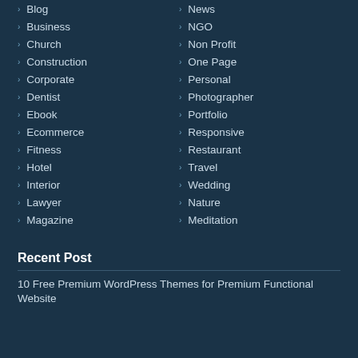Blog
Business
Church
Construction
Corporate
Dentist
Ebook
Ecommerce
Fitness
Hotel
Interior
Lawyer
Magazine
News
NGO
Non Profit
One Page
Personal
Photographer
Portfolio
Responsive
Restaurant
Travel
Wedding
Nature
Meditation
Recent Post
10 Free Premium WordPress Themes for Premium Functional Website